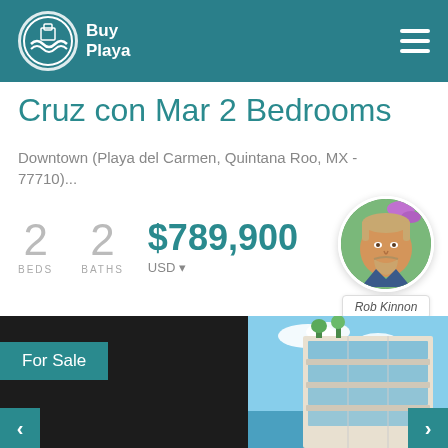Buy Playa
Cruz con Mar 2 Bedrooms
Downtown (Playa del Carmen, Quintana Roo, MX - 77710)...
2 BEDS  2 BATHS  $789,900 USD
[Figure (photo): Agent portrait of Rob Kinnon]
[Figure (photo): Modern multi-story condominium building with glass facade and ocean view]
For Sale
Rob Kinnon